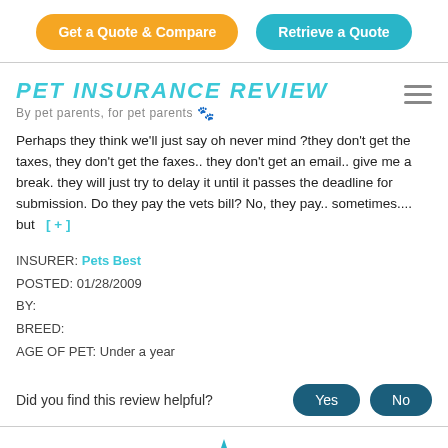[Figure (other): Orange 'Get a Quote & Compare' button and teal 'Retrieve a Quote' button in the header]
PET INSURANCE REVIEW
By pet parents, for pet parents 🐾
Perhaps they think we'll just say oh never mind ?they don't get the taxes, they don't get the faxes.. they don't get an email.. give me a break. they will just try to delay it until it passes the deadline for submission. Do they pay the vets bill? No, they pay.. sometimes.... but  [+]
INSURER: Pets Best
POSTED: 01/28/2009
BY:
BREED:
AGE OF PET: Under a year
Did you find this review helpful?
[Figure (other): A teal star with number 9 inside and an orange paw print icon at the bottom]